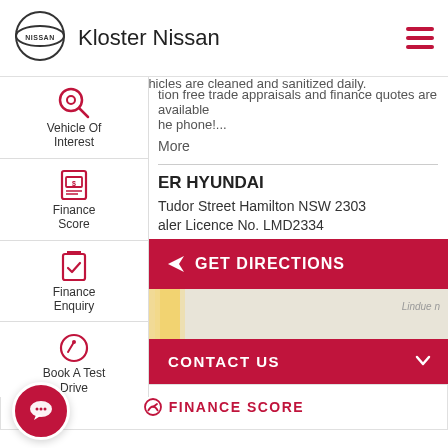[Figure (logo): Nissan circular logo]
Kloster Nissan
Our showrooms and vehicles are cleaned and sanitized daily.
tion free trade appraisals and finance quotes are available he phone!...
More
ER HYUNDAI
Tudor Street Hamilton NSW 2303
aler Licence No. LMD2334
[Figure (screenshot): GET DIRECTIONS button with map background and three-dot menu]
[Figure (screenshot): CONTACT US button]
[Figure (screenshot): FINANCE SCORE button]